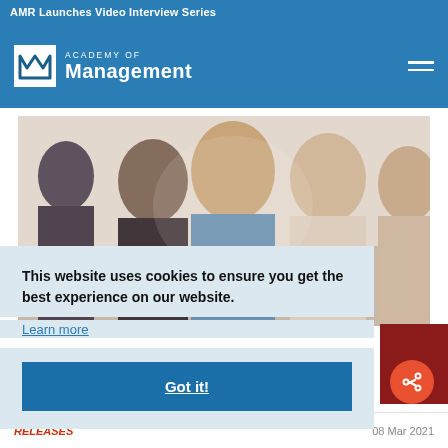AMR Launches Video Interview Series
[Figure (logo): Academy of Management logo with white M icon and text 'ACADEMY OF Management']
[Figure (photo): Group of women seated at a conference or panel, one speaking in center foreground]
This website uses cookies to ensure you get the best experience on our website.
Learn more
Got it!
RELEASES   08 Mar 2021